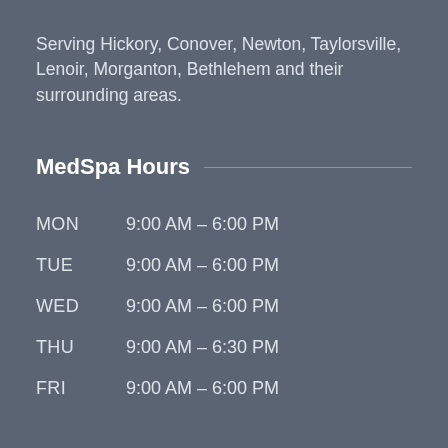Serving Hickory, Conover, Newton, Taylorsville, Lenoir, Morganton, Bethlehem and their surrounding areas.
MedSpa Hours
| Day | Hours |
| --- | --- |
| MON | 9:00 AM – 6:00 PM |
| TUE | 9:00 AM – 6:00 PM |
| WED | 9:00 AM – 6:00 PM |
| THU | 9:00 AM – 6:30 PM |
| FRI | 9:00 AM – 6:00 PM |